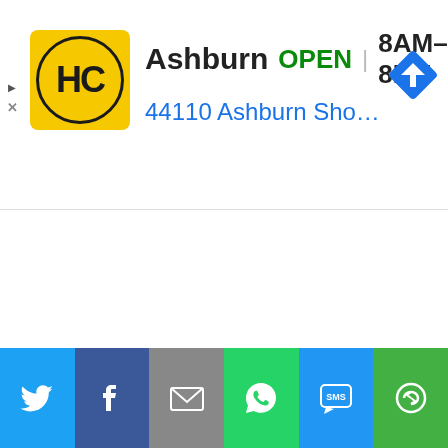[Figure (screenshot): A mobile ad banner for 'HC' business showing the HC logo (yellow circle with HC text on gold square background), business name Ashburn, OPEN status in green, hours 8AM-8PM, address 44110 Ashburn Shopping Plaz..., and a blue navigation/directions diamond icon on the right. A play triangle and X close button appear on the left edge.]
[Figure (screenshot): A collapse/minimize button (upward caret ^ symbol) in a box on the left side below the ad banner, with a horizontal line extending to the right.]
[Figure (infographic): A social sharing toolbar at the bottom with six colored buttons: Twitter (light blue, bird icon), Facebook (dark blue, f icon), Email (gray, envelope icon), WhatsApp (green, phone handset icon), SMS (medium blue, SMS bubble icon), and a green circular share/sync icon.]